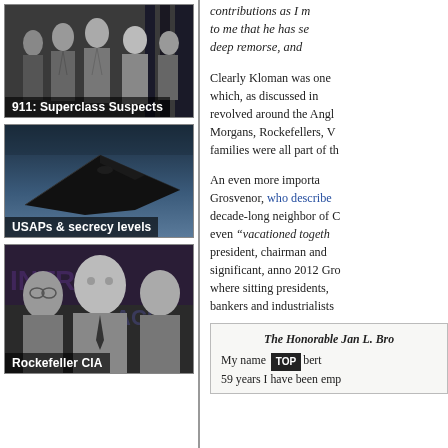[Figure (photo): Black and white photo of group of men in suits, possibly political figures. Caption: 911: Superclass Suspects]
[Figure (photo): Photo of a stealth aircraft (F-117 or similar) in dark sky. Caption: USAPs & secrecy levels]
[Figure (photo): Black and white photo of three men, possibly Rockefeller and CIA figures. Caption: Rockefeller CIA]
contributions as I m to me that he has se deep remorse, and
Clearly Kloman was one which, as discussed in revolved around the Angl Morgans, Rockefellers, V families were all part of th
An even more importa Grosvenor, who describe decade-long neighbor of C even "vacationed togeth president, chairman and significant, anno 2012 Gro where sitting presidents, bankers and industrialists
| The Honorable Jan L. Bro |
| My name [TOP] bert 59 years I have been emp |